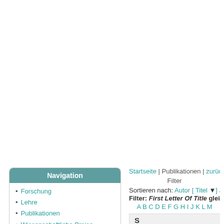Navigation
Forschung
Lehre
Publikationen
Wissenschaftliche Preise
Abschlussarbeiten
Mitarbeiter
Nachruf Prof. Pöppl
Dienstleistungen
Tagungen
Weitere Informationen
Impressum
Datenschutzerklärung
Startseite | Publikationen | zurück
Filter
Sortieren nach: Autor [ Titel ▼] Jahr
Filter: First Letter Of Title gleich S [Clear A
A B C D E F G H I J K L M
S
Uzunova H., Wilms M., Forkert N.D., Hanc
A systematic comparison of generative
International Journal of Computer Assisted
Tagged XML BibTex Google Scholar DOI
Krauth J., Gerlach S., Marzahl C., Voigt J.,
Synthetic Training with Generative Advo
In: Handels H., Deserno T.M., Maier A., Ma
die Medizin 2019, Lübeck, Informatik aktue
Tagged XML BibTex Google Scholar DOI